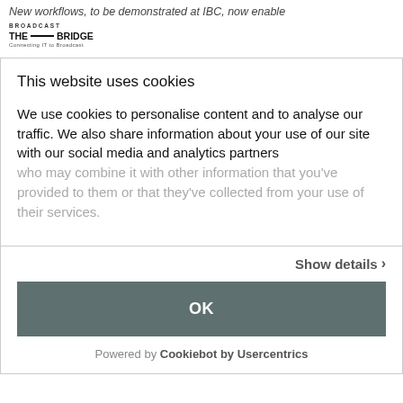New workflows, to be demonstrated at IBC, now enable
[Figure (logo): Broadcast The Bridge logo - Connecting IT to Broadcast]
This website uses cookies
We use cookies to personalise content and to analyse our traffic. We also share information about your use of our site with our social media and analytics partners who may combine it with other information that you've provided to them or that they've collected from your use of their services.
Show details ›
OK
Powered by Cookiebot by Usercentrics